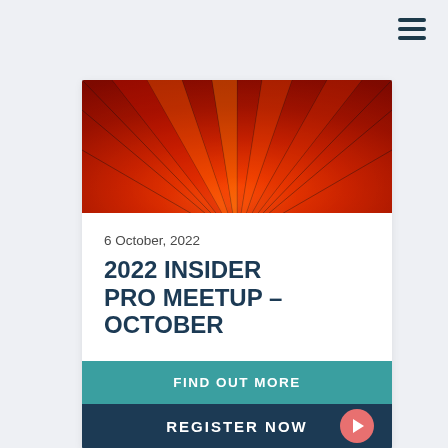[Figure (illustration): Hamburger menu icon (three horizontal lines) in dark teal color, positioned in top right corner]
[Figure (photo): Close-up photograph of red/orange fan or umbrella spokes radiating outward with dramatic lighting]
6 October, 2022
2022 INSIDER PRO MEETUP – OCTOBER
FIND OUT MORE
REGISTER NOW